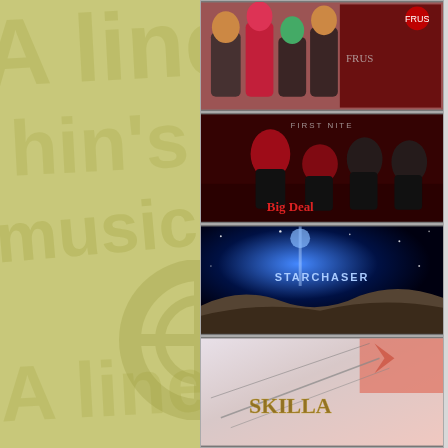[Figure (illustration): Watermark background on left side showing stylized text/logo over olive-yellow background]
Wes Beech rhythm guitar, lead guitar on "It's My Life"
Michael Ray lead guitar
Gene Simmons (as "Reginald Van Helsing") bass, producer
T.C. Tolliver drums
Ace Frehley lead guitar on "Bump and Grind"
Paul Stanley guitar on "Ready to Rock"
Eric Carr drums on "Legends Never Die"
Vincent Cusano guitar on "Ain't None Of Your Business"
Mitch Weissman
[Figure (photo): Album cover showing four women in rock/pop style, red background, band name FRUS visible]
[Figure (photo): Album cover showing a group of musicians in dark red lighting, text 'FIRST NITE' visible, labeled 'Big Deal']
[Figure (photo): Album cover for STARCHASER showing a sci-fi space/planet landscape]
[Figure (photo): Album cover with abstract marble/grunge artwork and metallic text 'SKILLA']